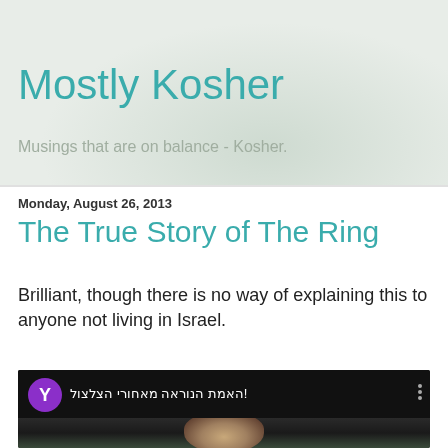Mostly Kosher
Musings that are on balance - Kosher.
Monday, August 26, 2013
The True Story of The Ring
Brilliant, though there is no way of explaining this to anyone not living in Israel.
[Figure (screenshot): YouTube video thumbnail with purple Y avatar, Hebrew title text '!האמת הנוראה מאחורי הצלצול', three-dot menu icon, and a dark video frame showing a partial face.]